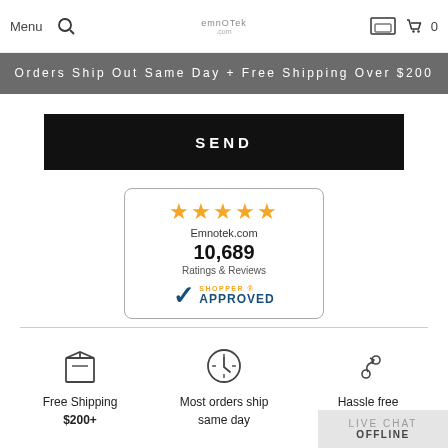Menu | Search | EMNOTEK | Cart 0
Orders Ship Out Same Day + Free Shipping Over $200
SEND
[Figure (infographic): Shopper Approved badge showing 5 stars, Emnotek.com, 10,689 Ratings & Reviews, with Shopper Approved logo]
[Figure (infographic): Three feature icons: box (Free Shipping $200+), clock (Most orders ship same day), arrows (Hassle free returns)]
Free Shipping $200+
Most orders ship same day
Hassle free returns
LIVE CHAT OFFLINE